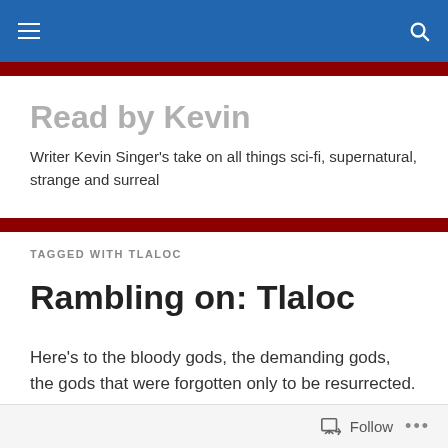Read by Kevin [navigation bar]
Read by Kevin
Writer Kevin Singer's take on all things sci-fi, supernatural, strange and surreal
TAGGED WITH TLALOC
Rambling on: Tlaloc
Here's to the bloody gods, the demanding gods, the gods that were forgotten only to be resurrected.
One of these: Tlaloc.
Follow ...